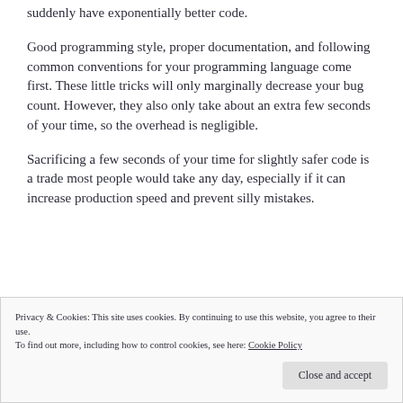suddenly have exponentially better code.
Good programming style, proper documentation, and following common conventions for your programming language come first. These little tricks will only marginally decrease your bug count. However, they also only take about an extra few seconds of your time, so the overhead is negligible.
Sacrificing a few seconds of your time for slightly safer code is a trade most people would take any day, especially if it can increase production speed and prevent silly mistakes.
Privacy & Cookies: This site uses cookies. By continuing to use this website, you agree to their use.
To find out more, including how to control cookies, see here: Cookie Policy
Close and accept